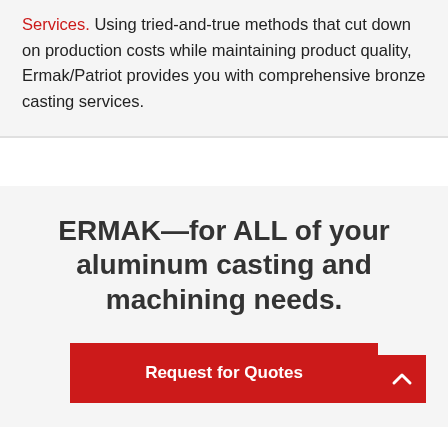Services. Using tried-and-true methods that cut down on production costs while maintaining product quality, Ermak/Patriot provides you with comprehensive bronze casting services.
ERMAK—for ALL of your aluminum casting and machining needs.
Request for Quotes